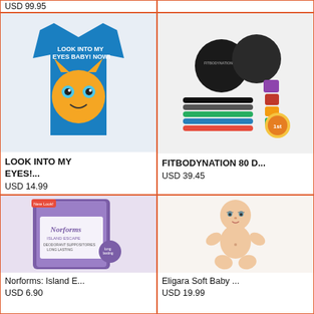USD 99.95
[Figure (photo): Blue t-shirt with cartoon cat graphic and text LOOK INTO MY EYES BABY! NOW!]
LOOK INTO MY EYES!...
USD 14.99
[Figure (photo): Fitness equipment set including gliding discs, resistance bands in multiple colors, food containers]
FITBODYNATION 80 D...
USD 39.45
[Figure (photo): Norforms Island Escape deodorant suppositories package]
Norforms: Island E...
USD 6.90
[Figure (photo): Eligara soft baby doll, nude infant doll sitting pose]
Eligara Soft Baby ...
USD 19.99
[Figure (photo): Black animal figurine (appears to be a dog or similar creature)]
[Figure (photo): Pink circular object, partially visible]